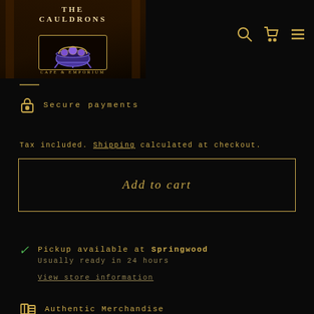[Figure (logo): The Cauldrons Cafe & Emporium logo with dark fantasy background, cauldron icon and ornate border]
[Figure (infographic): Navigation icons: search magnifier, shopping cart, hamburger menu in gold on black]
Secure payments
Tax included. Shipping calculated at checkout.
Add to cart
Pickup available at Springwood
Usually ready in 24 hours
View store information
Authentic Merchandise